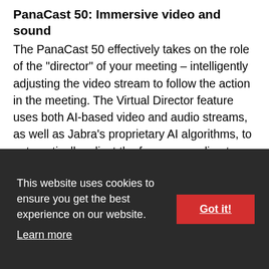PanaCast 50: Immersive video and sound
The PanaCast 50 effectively takes on the role of the "director" of your meeting – intelligently adjusting the video stream to follow the action in the meeting. The Virtual Director feature uses both AI-based video and audio streams, as well as Jabra's proprietary AI algorithms, to automatically adjust the frame according to what's happening in the meeting. This allows Jabra PanaCast 50 to detect active speakers and the flow of conversation, thereby delivering a remote meeting experience that's fully immersive and responsive.
Three 13-megapixel cameras mounted in a precision multi-camera array create an immersive 180° field of view in Panoramic-4K that covers the
[Figure (screenshot): Cookie consent banner overlay with dark background. Text reads: 'This website uses cookies to ensure you get the best experience on our website. Learn more' with a red 'Got it!' button on the right.]